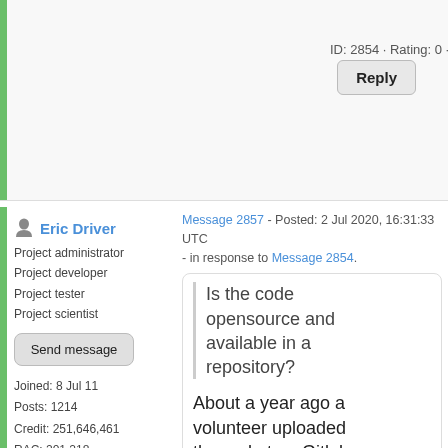ID: 2854 · Rating: 0 · rate: [+] / [-] [x]
Reply
Quote
Eric Driver
Message 2857 - Posted: 2 Jul 2020, 16:31:33 UTC - in response to Message 2854.
Project administrator
Project developer
Project tester
Project scientist
Send message
Joined: 8 Jul 11
Posts: 1214
Credit: 251,646,461
RAC: 201,218
Is the code opensource and available in a repository?
About a year ago a volunteer uploaded the code to a Gitlab